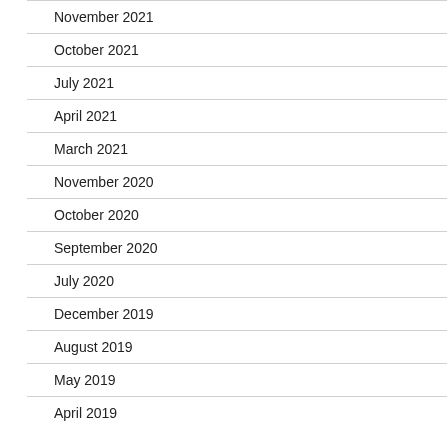November 2021
October 2021
July 2021
April 2021
March 2021
November 2020
October 2020
September 2020
July 2020
December 2019
August 2019
May 2019
April 2019